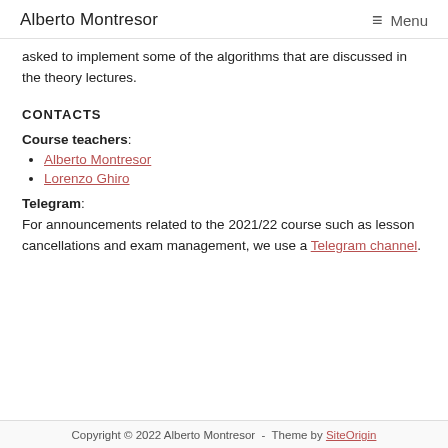Alberto Montresor   Menu
asked to implement some of the algorithms that are discussed in the theory lectures.
CONTACTS
Course teachers:
Alberto Montresor
Lorenzo Ghiro
Telegram: For announcements related to the 2021/22 course such as lesson cancellations and exam management, we use a Telegram channel.
Copyright © 2022 Alberto Montresor - Theme by SiteOrigin